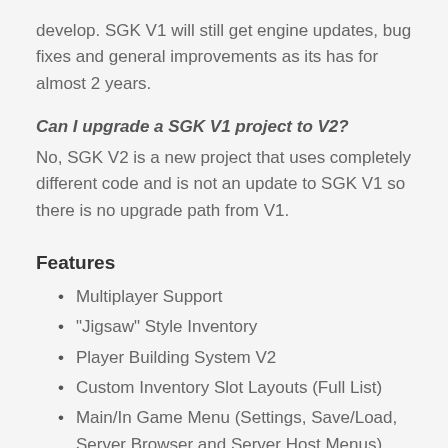develop. SGK V1 will still get engine updates, bug fixes and general improvements as its has for almost 2 years.
Can I upgrade a SGK V1 project to V2?
No, SGK V2 is a new project that uses completely different code and is not an update to SGK V1 so there is no upgrade path from V1.
Features
Multiplayer Support
"Jigsaw" Style Inventory
Player Building System V2
Custom Inventory Slot Layouts (Full List)
Main/In Game Menu (Settings, Save/Load, Server Browser and Server Host Menus)